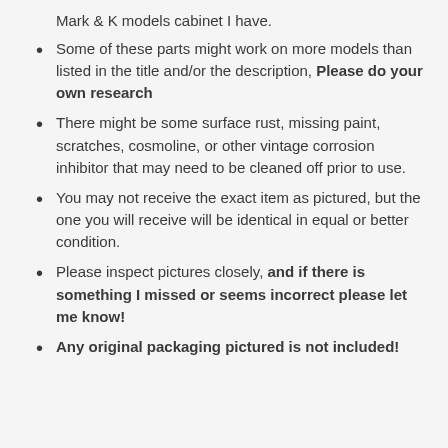Mark & K models cabinet I have.
Some of these parts might work on more models than listed in the title and/or the description, Please do your own research
There might be some surface rust, missing paint, scratches, cosmoline, or other vintage corrosion inhibitor that may need to be cleaned off prior to use.
You may not receive the exact item as pictured, but the one you will receive will be identical in equal or better condition.
Please inspect pictures closely, and if there is something I missed or seems incorrect please let me know!
Any original packaging pictured is not included!